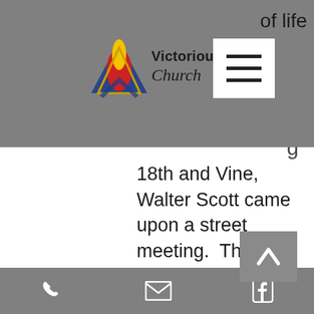[Figure (logo): Victorious Life Church logo with flame/chevron icon and church name in bold and script fonts]
of life
18th and Vine, Walter Scott came upon a street meeting.  There he heard the preached Word being delivered under the anointing of the Holy Ghost by Elder John Caldwell. On that same day, he was baptized in the name of Jesus and tarried until the Holy Ghost fell upon him.
Brother Scott received his spiritual guidance under the direction of Elder Green Reaver
phone | email | facebook